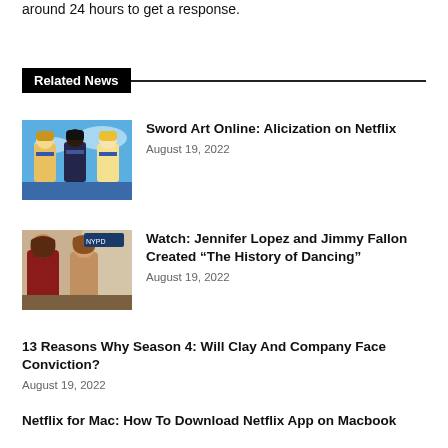around 24 hours to get a response.
Related News
Sword Art Online: Alicization on Netflix
August 19, 2022
Watch: Jennifer Lopez and Jimmy Fallon Created “The History of Dancing”
August 19, 2022
13 Reasons Why Season 4: Will Clay And Company Face Conviction?
August 19, 2022
Netflix for Mac: How To Download Netflix App on Macbook